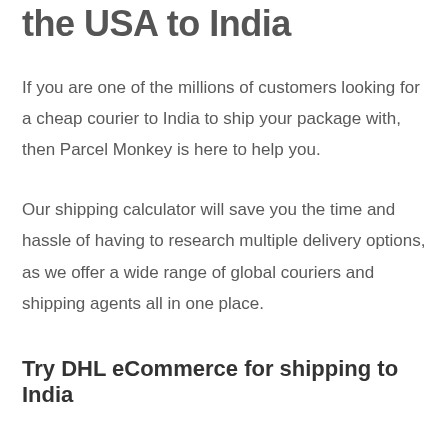the USA to India
If you are one of the millions of customers looking for a cheap courier to India to ship your package with, then Parcel Monkey is here to help you.
Our shipping calculator will save you the time and hassle of having to research multiple delivery options, as we offer a wide range of global couriers and shipping agents all in one place.
Try DHL eCommerce for shipping to India